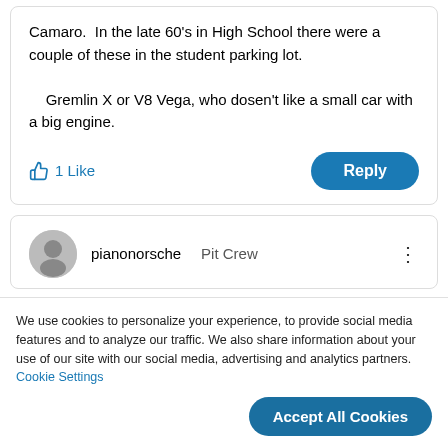Camaro.  In the late 60's in High School there were a couple of these in the student parking lot.
    Gremlin X or V8 Vega, who dosen't like a small car with a big engine.
1 Like
Reply
pianonorsche  Pit Crew
We use cookies to personalize your experience, to provide social media features and to analyze our traffic. We also share information about your use of our site with our social media, advertising and analytics partners. Cookie Settings
Accept All Cookies